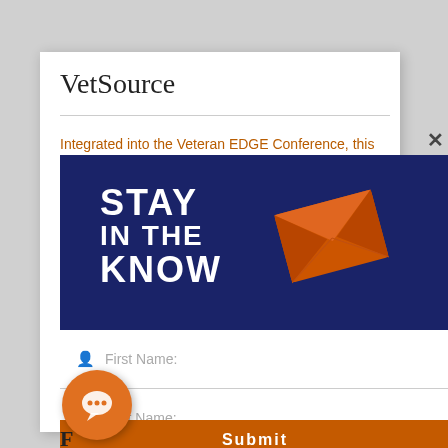VetSource
Integrated into the Veteran EDGE Conference, this
[Figure (screenshot): Modal popup with dark navy background showing 'STAY IN THE KNOW' text with orange envelope icon, and a newsletter signup form with First Name, Last Name, Email fields and an orange Submit button. An orange chat bubble icon is visible in the lower left.]